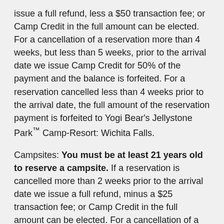issue a full refund, less a $50 transaction fee; or Camp Credit in the full amount can be elected. For a cancellation of a reservation more than 4 weeks, but less than 5 weeks, prior to the arrival date we issue Camp Credit for 50% of the payment and the balance is forfeited. For a reservation cancelled less than 4 weeks prior to the arrival date, the full amount of the reservation payment is forfeited to Yogi Bear's Jellystone Park™ Camp-Resort: Wichita Falls.
Campsites: You must be at least 21 years old to reserve a campsite. If a reservation is cancelled more than 2 weeks prior to the arrival date we issue a full refund, minus a $25 transaction fee; or Camp Credit in the full amount can be elected. For a cancellation of a reservation more than 1 week, but less than 2 weeks, prior to the arrival date we issue Camp Credit for 50% of the payment and the balance is forfeited. For a reservation cancelled less than one week prior to the arrival date, the full amount of the